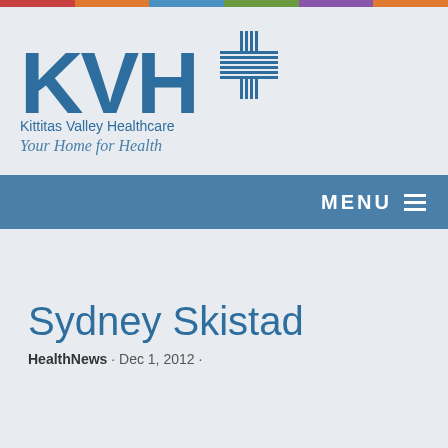[Figure (logo): KVH Kittitas Valley Healthcare logo with cross symbol and tagline 'Your Home for Health']
MENU
Sydney Skistad
HealthNews · Dec 1, 2012 ·